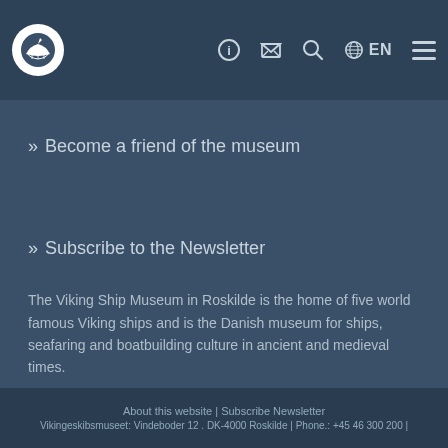Viking Ship Museum navigation header with logo, info, email, search, language (EN), and menu icons
» Become a friend of the museum
» Subscribe to the Newsletter
The Viking Ship Museum in Roskilde is the home of five world famous Viking ships and is the Danish museum for ships, seafaring and boatbuilding culture in ancient and medieval times.
About this website | Subscribe Newsletter
Vikingeskibsmuseet: Vindeboder 12 . DK-4000 Roskilde | Phone.: +45 46 300 200 |